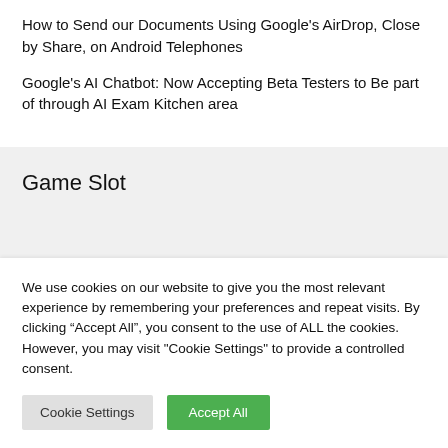How to Send our Documents Using Google's AirDrop, Close by Share, on Android Telephones
Google's AI Chatbot: Now Accepting Beta Testers to Be part of through AI Exam Kitchen area
Game Slot
We use cookies on our website to give you the most relevant experience by remembering your preferences and repeat visits. By clicking “Accept All”, you consent to the use of ALL the cookies. However, you may visit "Cookie Settings" to provide a controlled consent.
Cookie Settings | Accept All